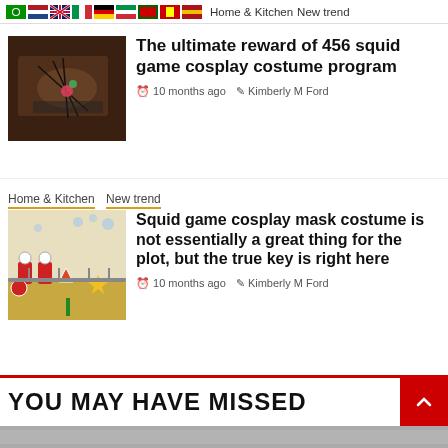Home & Kitchen  New trend
[Figure (photo): Hand holding needles or wires, dark background - squid game cosplay image]
The ultimate reward of 456 squid game cosplay costume program
10 months ago  Kimberly M Ford
Home & Kitchen  New trend
[Figure (photo): Squid game figurines - pink-suited guards with triangle, circle, star shapes on white dotted background]
Squid game cosplay mask costume is not essentially a great thing for the plot, but the true key is right here
10 months ago  Kimberly M Ford
YOU MAY HAVE MISSED